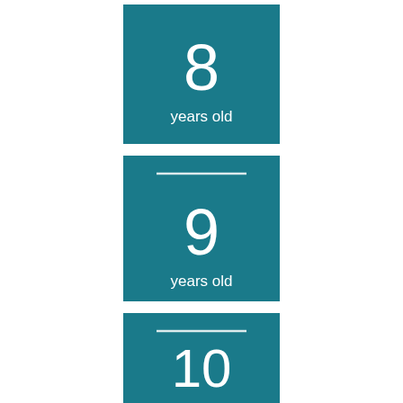[Figure (infographic): Teal square tile showing '8 years old' with large white number and label]
[Figure (infographic): Teal square tile showing '9 years old' with horizontal line, large white number and label]
[Figure (infographic): Teal square tile showing '10 years old' with horizontal line, large white number and label]
[Figure (infographic): Teal square tile showing '11 years old' with horizontal line, large white number and label]
[Figure (infographic): Brown square tile partially visible at bottom, beginning of next age tile]